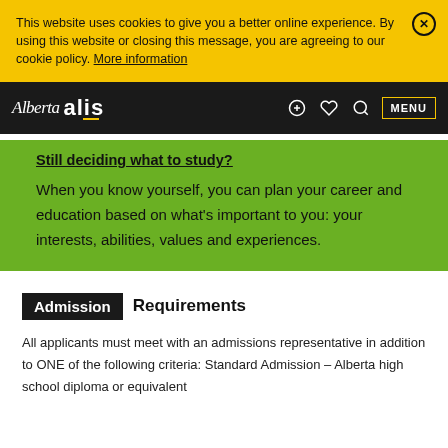This website uses cookies to give you a better online experience. By using this website or closing this message, you are agreeing to our cookie policy. More information
Alberta alis — navigation bar with MENU
Still deciding what to study?
When you know yourself, you can plan your career and education based on what's important to you: your interests, abilities, values and experiences.
Admission Requirements
All applicants must meet with an admissions representative in addition to ONE of the following criteria: Standard Admission – Alberta high school diploma or equivalent